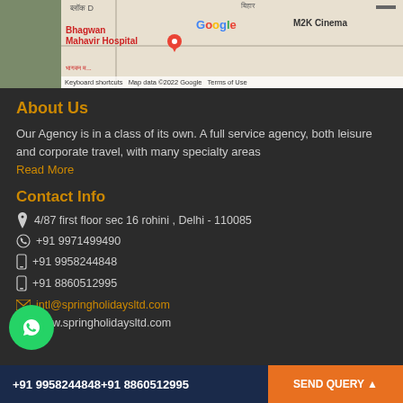[Figure (screenshot): Google Maps screenshot showing Bhagwan Mahavir Hospital area in Delhi, with M2K Cinema visible]
About Us
Our Agency is in a class of its own. A full service agency, both leisure and corporate travel, with many specialty areas
Read More
Contact Info
4/87 first floor sec 16 rohini , Delhi - 110085
+91 9971499490
+91 9958244848
+91 8860512995
intl@springholidaysltd.com
www.springholidaysltd.com
+91 9958244848+91 8860512995   SEND QUERY